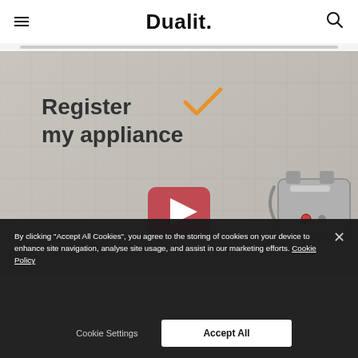Dualit.
[Figure (screenshot): Dualit website screenshot showing 'Register my appliance' banner with a play button and kitchen appliances on the right side. Background is a light grey tile texture.]
By clicking "Accept All Cookies", you agree to the storing of cookies on your device to enhance site navigation, analyse site usage, and assist in our marketing efforts. Cookie Policy
Cookie Settings
Accept All